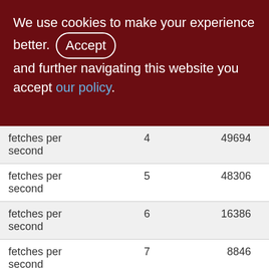We use cookies to make your experience better. By accepting and further navigating this website you accept our policy.
| fetches per second | 4 | 49694 |
| fetches per second | 5 | 48306 |
| fetches per second | 6 | 16386 |
| fetches per second | 7 | 8846 |
| fetches per second | 8 | 17419 |
| fetches per second | 9 | 15073 |